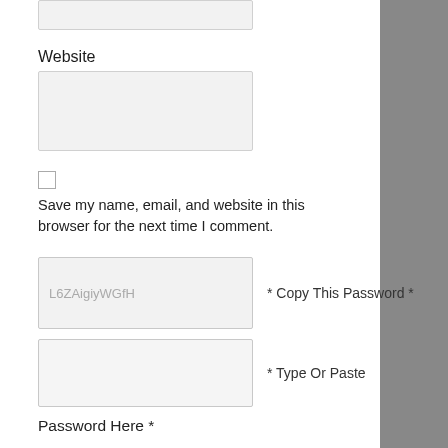Website
[Figure (other): Empty text input box for Website field]
[Figure (other): Checkbox (unchecked)]
Save my name, email, and website in this browser for the next time I comment.
[Figure (other): Input box showing placeholder text: L6ZAigiyWGfH]
* Copy This Password *
[Figure (other): Empty input box for typing or pasting password]
* Type Or Paste
Password Here *
95,950 Spam Comments Blocked so far by Spam Free Wordpress